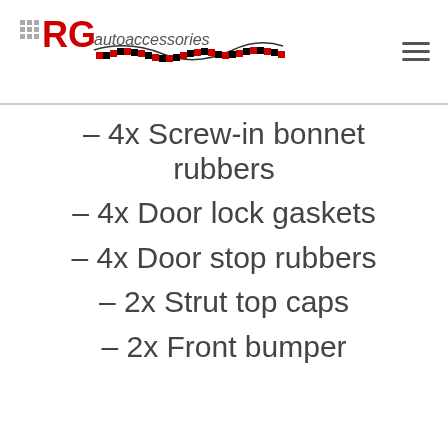RG autoaccessories
– 4x Screw-in bonnet rubbers
– 4x Door lock gaskets
– 4x Door stop rubbers
– 2x Strut top caps
– 2x Front bumper